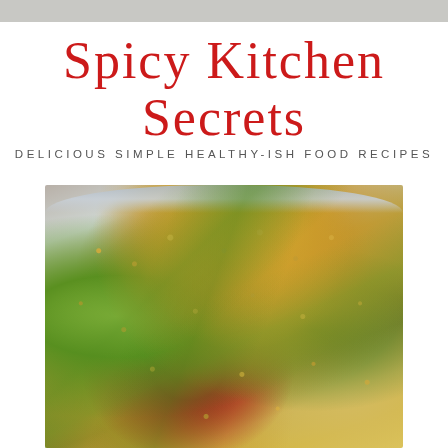Spicy Kitchen Secrets
DELICIOUS SIMPLE HEALTHY-ISH FOOD RECIPES
[Figure (photo): Close-up photo of a quinoa salad with snap peas, cherry tomatoes, and other vegetables in a blue bowl]